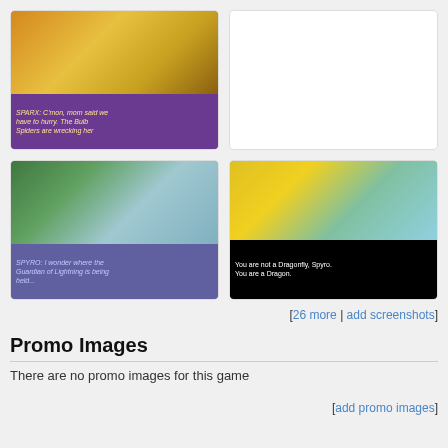[Figure (screenshot): Game screenshot showing Spyro the dragon and Sparx the dragonfly with dialog: SPARX: C'mon, mom said we have to hurry. The Bulb Spiders are wrecking her]
[Figure (screenshot): Empty white screenshot placeholder]
[Figure (screenshot): Game screenshot showing Spyro and Sparx in a forest/waterfall area with dialog: SPYRO: I wonder where the Guardian of Lightning is being held...]
[Figure (screenshot): Game screenshot showing Spyro with a golden dragonfly and blue dragon with dialog: You are not a Dragonfly, Spyro. You are a Dragon.]
[26 more | add screenshots]
Promo Images
There are no promo images for this game
[add promo images]